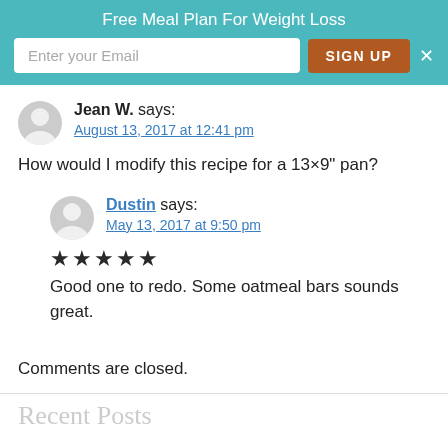Free Meal Plan For Weight Loss
Jean W. says:
August 13, 2017 at 12:41 pm
How would I modify this recipe for a 13×9" pan?
Dustin says:
May 13, 2017 at 9:50 pm
★★★★★ (5 stars)
Good one to redo. Some oatmeal bars sounds great.
Comments are closed.
Recent Posts